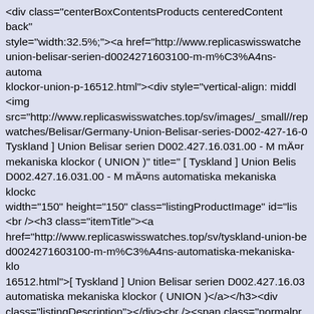<div class="centerBoxContentsProducts centeredContent back" style="width:32.5%;"><a href="http://www.replicaswisswatches.top/sv/union-belisar-serien-d0024271603100-m-m%C3%A4ns-automatiska-mekaniska-klockor-union-p-16512.html"><div style="vertical-align: middl <img src="http://www.replicaswisswatches.top/sv/images/_small//rep watches/Belisar/Germany-Union-Belisar-series-D002-427-16-0 Tyskland ] Union Belisar serien D002.427.16.031.00 - M mÄ¤r mekaniska klockor ( UNION )" title=" [ Tyskland ] Union Belis D002.427.16.031.00 - M mÄ¤ns automatiska mekaniska klockc width="150" height="150" class="listingProductImage" id="lis <br /><h3 class="itemTitle"><a href="http://www.replicaswisswatches.top/sv/tyskland-union-be d0024271603100-m-m%C3%A4ns-automatiska-mekaniska-klo 16512.html">[ Tyskland ] Union Belisar serien D002.427.16.03 automatiska mekaniska klockor ( UNION )</a></h3><div class="listingDescription"></div><br /><span class="normalpr </span>&nbsp;<span class="productSpecialPrice">SEK 1,773< class="productPriceDiscount"><br />Spara:&nbsp;98% mindre <a href="http://www.replicaswisswatches.top/sv/unionens-kloc products_id=16512&action=buy_now&sort=20a"><img src="http://www.replicaswisswatches.top/sv/includes/templates. alt="KÄ¶p Nu" title=" KÄ¶p Nu " width="110" height="21" class="listingBuyNowButton" /></a><br /><br /></div> <div class="centerBoxContentsProducts centeredContent back